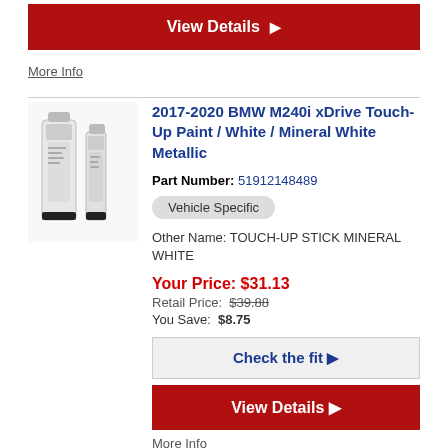[Figure (photo): View Details button (dark red) at the top of the page]
More Info
[Figure (photo): Touch-up paint product image showing two white/grey bottles/pens]
2017-2020 BMW M240i xDrive Touch-Up Paint / White / Mineral White Metallic
Part Number: 51912148489
Vehicle Specific
Other Name: TOUCH-UP STICK MINERAL WHITE
Your Price: $31.13
Retail Price: $39.88
You Save: $8.75
[Figure (other): Check the fit button (light grey)]
[Figure (other): View Details button (dark red)]
More Info